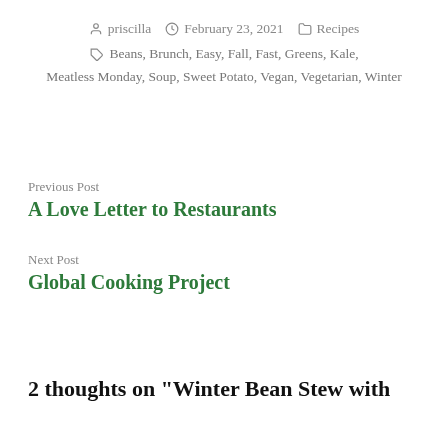By priscilla  February 23, 2021  Recipes
Beans, Brunch, Easy, Fall, Fast, Greens, Kale, Meatless Monday, Soup, Sweet Potato, Vegan, Vegetarian, Winter
Previous Post
A Love Letter to Restaurants
Next Post
Global Cooking Project
2 thoughts on “Winter Bean Stew with